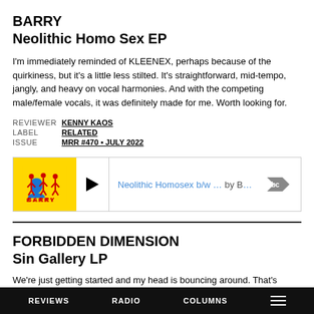BARRY
Neolithic Homo Sex EP
I'm immediately reminded of KLEENEX, perhaps because of the quirkiness, but it's a little less stilted. It's straightforward, mid-tempo, jangly, and heavy on vocal harmonies. And with the competing male/female vocals, it was definitely made for me. Worth looking for.
| REVIEWER | KENNY KAOS |
| LABEL | RELATED |
| ISSUE | MRR #470 • JULY 2022 |
[Figure (screenshot): Bandcamp embedded music player widget for 'Neolithic Homosex b/w ...' by Barry, showing yellow album art with BARRY logo and red figures, play button, track title in blue, and Bandcamp logo]
FORBIDDEN DIMENSION
Sin Gallery LP
We're just getting started and my head is bouncing around. That's always a
REVIEWS   RADIO   COLUMNS